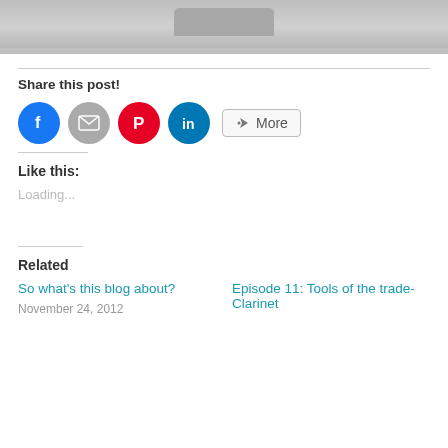[Figure (photo): Partial photo strip at top of page, showing a gray/silver object, cropped]
Share this post!
[Figure (infographic): Social share buttons: Facebook (blue circle), Email (gray circle), Pinterest (red circle), LinkedIn (blue circle), More button]
Like this:
Loading...
Related
So what's this blog about?
November 24, 2012
Episode 11: Tools of the trade- Clarinet